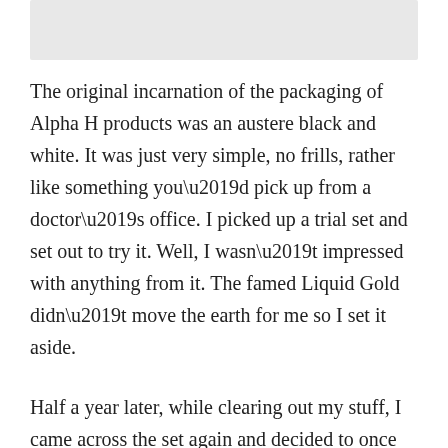[Figure (photo): A light gray rectangular image placeholder at the top of the page]
The original incarnation of the packaging of Alpha H products was an austere black and white. It was just very simple, no frills, rather like something you’d pick up from a doctor’s office. I picked up a trial set and set out to try it. Well, I wasn’t impressed with anything from it. The famed Liquid Gold didn’t move the earth for me so I set it aside.
Half a year later, while clearing out my stuff, I came across the set again and decided to once again use it, more to use up the product and prevent wastage than anything. And this time, something happened…. which